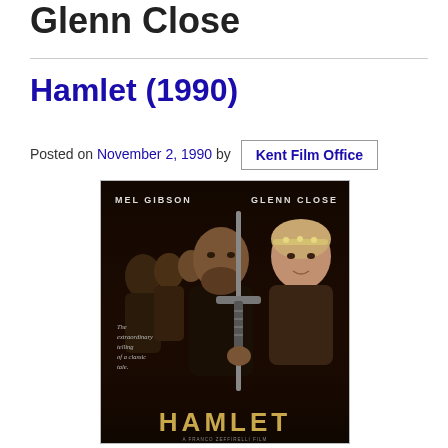Glenn Close
Hamlet (1990)
Posted on November 2, 1990 by Kent Film Office
[Figure (photo): Movie poster for Hamlet (1990) featuring Mel Gibson and Glenn Close. Dark background with cast members and a sword. Text reads 'MEL GIBSON GLENN CLOSE' at top, 'HAMLET' in gold letters at bottom.]